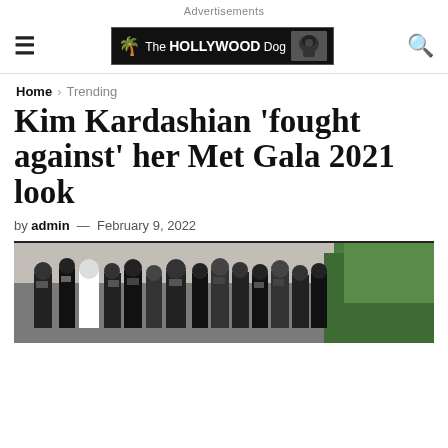Advertisements
The HOLLYWOOD Dog [logo banner with hamburger menu and search icon]
Home > Trending
Kim Kardashian 'fought against' her Met Gala 2021 look
by admin — February 9, 2022
[Figure (photo): Crowd of photographers and press at a red carpet event, with green hedges visible on the right side]